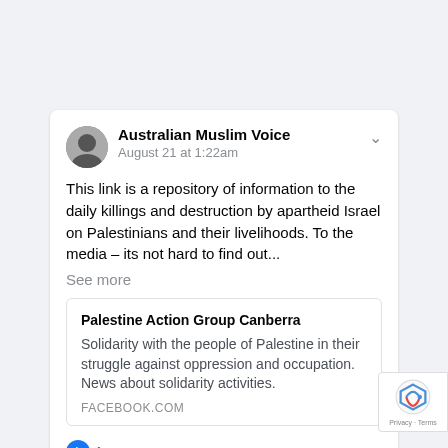[Figure (photo): Facebook post from Australian Muslim Voice with avatar, date August 21 at 1:22am]
Australian Muslim Voice
August 21 at 1:22am
This link is a repository of information to the daily killings and destruction by apartheid Israel on Palestinians and their livelihoods. To the media - its not hard to find out...
See more
Palestine Action Group Canberra
Solidarity with the people of Palestine in their struggle against oppression and occupation. News about solidarity activities.
FACEBOOK.COM
1